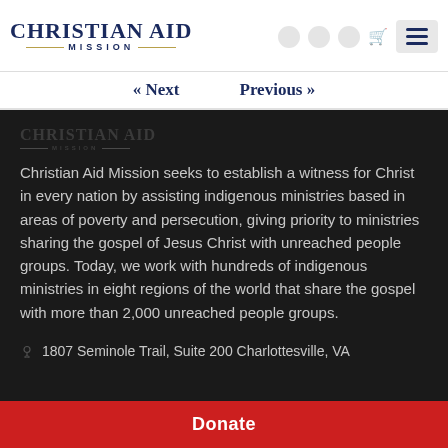Christian Aid Mission
« Next   Previous »
[Figure (logo): Christian Aid Mission watermark logo in dark gray on dark background]
Christian Aid Mission seeks to establish a witness for Christ in every nation by assisting indigenous ministries based in areas of poverty and persecution, giving priority to ministries sharing the gospel of Jesus Christ with unreached people groups. Today, we work with hundreds of indigenous ministries in eight regions of the world that share the gospel with more than 2,000 unreached people groups.
1807 Seminole Trail, Suite 200 Charlottesville, VA
Donate